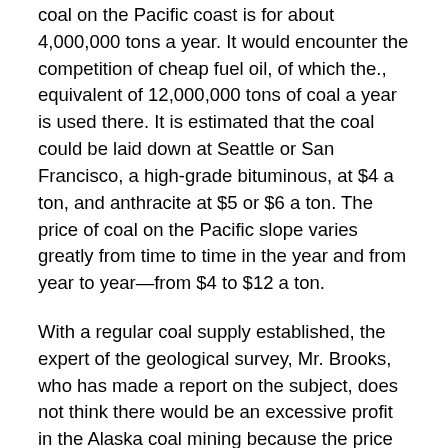coal on the Pacific coast is for about 4,000,000 tons a year. It would encounter the competition of cheap fuel oil, of which the., equivalent of 12,000,000 tons of coal a year is used there. It is estimated that the coal could be laid down at Seattle or San Francisco, a high-grade bituminous, at $4 a ton, and anthracite at $5 or $6 a ton. The price of coal on the Pacific slope varies greatly from time to time in the year and from year to year—from $4 to $12 a ton.
With a regular coal supply established, the expert of the geological survey, Mr. Brooks, who has made a report on the subject, does not think there would be an excessive profit in the Alaska coal mining because the price at which the coal could be sold would be considerably lowered by competition from these fields and by the presence of crude fuel oil. The history of the laws affecting the disposition of Alaska coal lands shows them to need amendment badly.